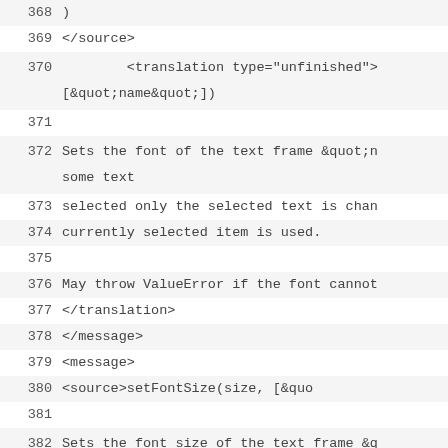368  )
369  </source>
370          <translation type="unfinished">
[&quot;name&quot;])
371
372  Sets the font of the text frame &quot;n
some text
373  selected only the selected text is chan
374  currently selected item is used.
375
376  May throw ValueError if the font cannot
377  </translation>
378       </message>
379       <message>
380          <source>setFontSize(size, [&quo
381
382  Sets the font size of the text frame &q
&quot;size&quot; is treated
383  as a value in points. If there is some
384  changed. &quot;size&quot; must be in th
not given the
385  currently selected item is used.
386